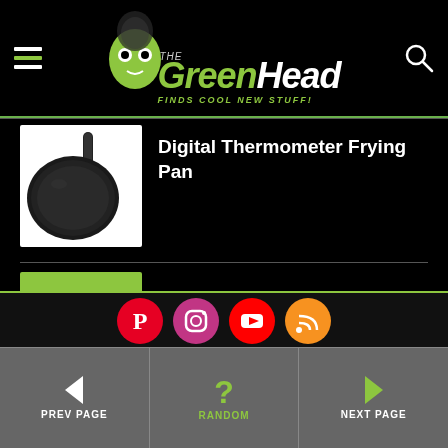The Green Head - Finds Cool New Stuff!
[Figure (illustration): Black frying pan with handle and dark non-stick surface, viewed from above at slight angle]
Digital Thermometer Frying Pan
[Figure (illustration): Stonehenge model kit on green circular base, stone monuments arranged in circle]
Build Your Own Stonehenge Kit
Surprise Me!
[Figure (infographic): Social media icons: Pinterest (red), Instagram (gradient), YouTube (red), RSS (orange)]
PREV PAGE | RANDOM | NEXT PAGE